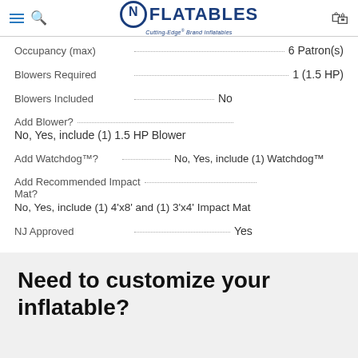N Flatables – Cutting-Edge Brand Inflatables
Occupancy (max) ............ 6 Patron(s)
Blowers Required ............ 1 (1.5 HP)
Blowers Included ............ No
Add Blower? ............
No, Yes, include (1) 1.5 HP Blower
Add Watchdog™? ............ No, Yes, include (1) Watchdog™
Add Recommended Impact Mat? ............
No, Yes, include (1) 4'x8' and (1) 3'x4' Impact Mat
NJ Approved ............ Yes
Need to customize your inflatable?